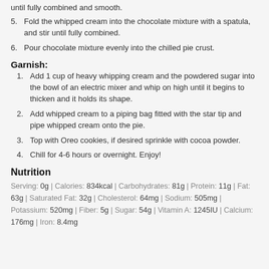until fully combined and smooth.
5. Fold the whipped cream into the chocolate mixture with a spatula, and stir until fully combined.
6. Pour chocolate mixture evenly into the chilled pie crust.
Garnish:
1. Add 1 cup of heavy whipping cream and the powdered sugar into the bowl of an electric mixer and whip on high until it begins to thicken and it holds its shape.
2. Add whipped cream to a piping bag fitted with the star tip and pipe whipped cream onto the pie.
3. Top with Oreo cookies, if desired sprinkle with cocoa powder.
4. Chill for 4-6 hours or overnight. Enjoy!
Nutrition
Serving: 0g | Calories: 834kcal | Carbohydrates: 81g | Protein: 11g | Fat: 63g | Saturated Fat: 32g | Cholesterol: 64mg | Sodium: 505mg | Potassium: 520mg | Fiber: 5g | Sugar: 54g | Vitamin A: 1245IU | Calcium: 176mg | Iron: 8.4mg